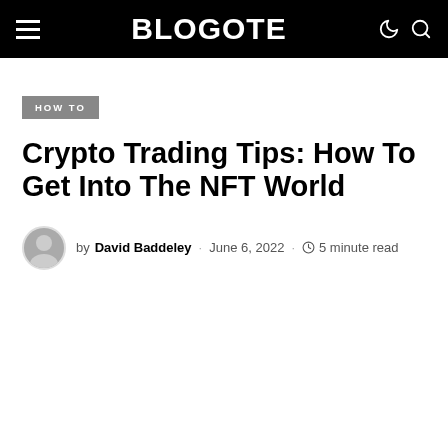BLOGOTE
HOW TO
Crypto Trading Tips: How To Get Into The NFT World
by David Baddeley · June 6, 2022 · 5 minute read